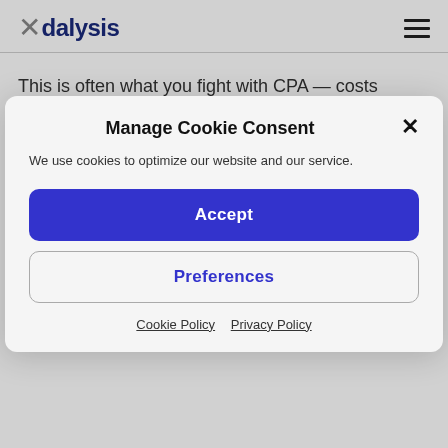Adalysis
This is often what you fight with CPA — costs versus volume.
Where CPA is a great metric is when you combine it with
Manage Cookie Consent
We use cookies to optimize our website and our service.
Accept
Preferences
Cookie Policy  Privacy Policy